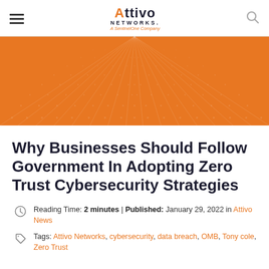Attivo Networks. A SentinelOne Company
[Figure (illustration): Orange banner with radiating dot/line pattern emanating from center top, creating a perspective grid effect on orange background]
Why Businesses Should Follow Government In Adopting Zero Trust Cybersecurity Strategies
Reading Time: 2 minutes | Published: January 29, 2022 in Attivo News
Tags: Attivo Networks, cybersecurity, data breach, OMB, Tony cole, Zero Trust